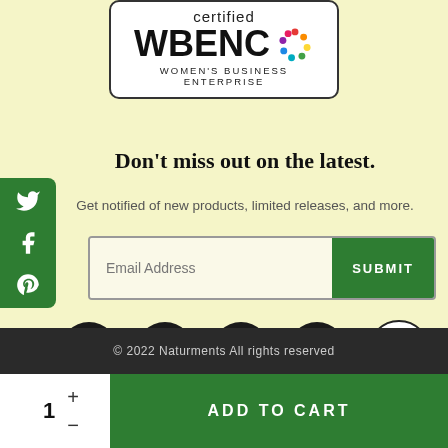[Figure (logo): WBENC certified Women's Business Enterprise logo in a rounded rectangle]
Don't miss out on the latest.
Get notified of new products, limited releases, and more.
[Figure (screenshot): Email address input field with SUBMIT button]
[Figure (infographic): Social media icons row: Twitter, Instagram, Facebook, Pinterest circles, and a scroll-to-top button]
[Figure (infographic): Green sidebar with Twitter, Facebook, Pinterest icons]
© 2022 Naturments All rights reserved
ADD TO CART